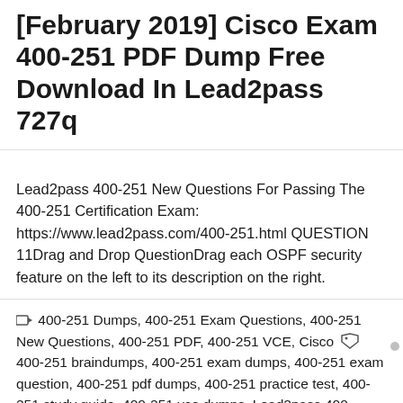[February 2019] Cisco Exam 400-251 PDF Dump Free Download In Lead2pass 727q
Lead2pass 400-251 New Questions For Passing The 400-251 Certification Exam: https://www.lead2pass.com/400-251.html QUESTION 11Drag and Drop QuestionDrag each OSPF security feature on the left to its description on the right.
400-251 Dumps, 400-251 Exam Questions, 400-251 New Questions, 400-251 PDF, 400-251 VCE, Cisco 400-251 braindumps, 400-251 exam dumps, 400-251 exam question, 400-251 pdf dumps, 400-251 practice test, 400-251 study guide, 400-251 vce dumps, Lead2pass 400-